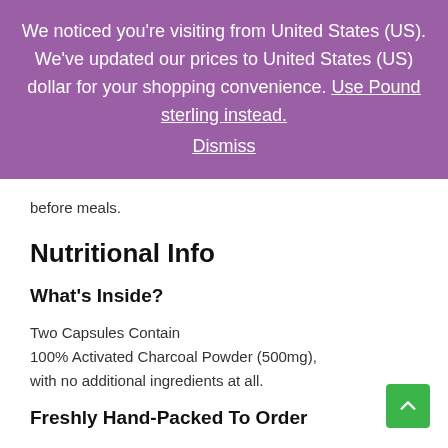We noticed you're visiting from United States (US). We've updated our prices to United States (US) dollar for your shopping convenience. Use Pound sterling instead. Dismiss
before meals.
Nutritional Info
What's Inside?
Two Capsules Contain
100% Activated Charcoal Powder (500mg),
with no additional ingredients at all.
Freshly Hand-Packed To Order